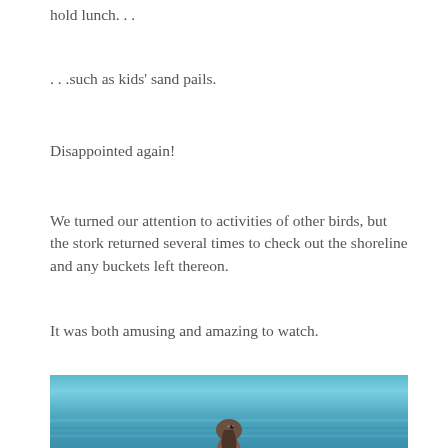hold lunch. . .
. . .such as kids' sand pails.
Disappointed again!
We turned our attention to activities of other birds, but the stork returned several times to check out the shoreline and any buckets left thereon.
It was both amusing and amazing to watch.
[Figure (photo): Close-up photograph of a bird (pelican or similar wading bird) against a blurred blue water background, showing the bird's head, neck and beak in detail.]